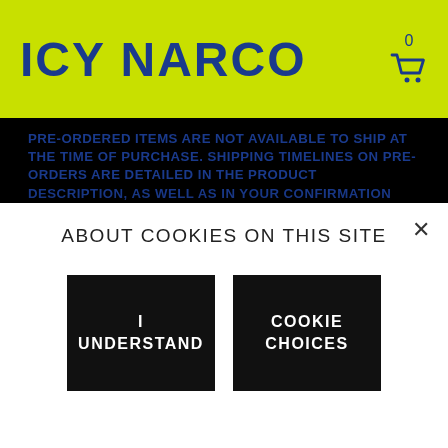ICY NARCO
PRE-ORDERED ITEMS ARE NOT AVAILABLE TO SHIP AT THE TIME OF PURCHASE. SHIPPING TIMELINES ON PRE-ORDERS ARE DETAILED IN THE PRODUCT DESCRIPTION, AS WELL AS IN YOUR CONFIRMATION EMAIL. NOTE THAT UNLESS OTHERWISE NOTED, ANY ORDER THAT INCLUDES A PRE-ORDER ITEM WILL NOT SHIP UNTIL ALL ITEMS ARE AVAILABLE.

PLEASE CHECK YOUR CONFIRMATION EMAIL FOR DETAILS ON WHEN PRE-ORDER ITEMS WILL SHIP. SHIPPING AND DELIVERY DATES ON THESE ITEMS ARE NOT GUARANTEED, UNLESS OTHERWISE NOTED.

WHILE WE MAKE EVERY EFFORT TO COMMUNICATE ACCURATE DELIVERY ESTIMATES AROUND YOUR ORDERS, UNANTICIPATED
ABOUT COOKIES ON THIS SITE
I UNDERSTAND
COOKIE CHOICES